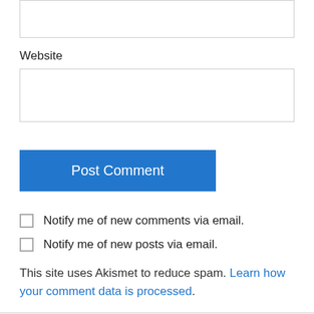Website
Post Comment
Notify me of new comments via email.
Notify me of new posts via email.
This site uses Akismet to reduce spam. Learn how your comment data is processed.
Anonymous on October 14, 2019 at 4:50 pm